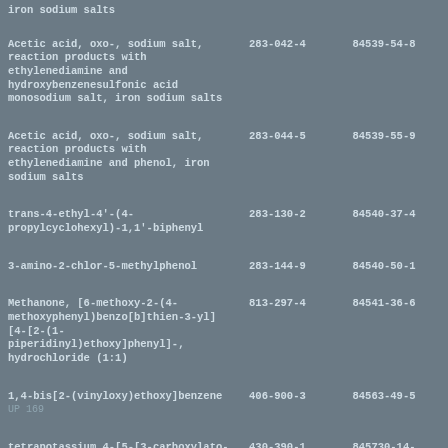| Substance Name | EC Number | CAS Number |
| --- | --- | --- |
| iron sodium salts |  |  |
| Acetic acid, oxo-, sodium salt, reaction products with ethylenediamine and hydroxybenzenesulfonic acid monosodium salt, iron sodium salts | 283-042-4 | 84539-54-8 |
| Acetic acid, oxo-, sodium salt, reaction products with ethylenediamine and phenol, iron sodium salts | 283-044-5 | 84539-55-9 |
| trans-4-ethyl-4'-(4-propylcyclohexyl)-1,1'-biphenyl | 283-130-2 | 84540-37-4 |
| 3-amino-2-chlor-5-methylphenol | 283-144-9 | 84540-50-1 |
| Methanone, [6-methoxy-2-(4-methoxyphenyl)benzo[b]thien-3-yl][4-[2-(1-piperidinyl)ethoxy]phenyl]-, hydrochloride (1:1) | 813-297-4 | 84541-36-6 |
| 1,4-bis[2-(vinyloxy)ethoxy]benzene UP 169 | 406-900-3 | 84563-49-5 |
| tetrapotassium 4-[5-[3-carboxylato-4,5- | 430-390-1 | 845730-14- |